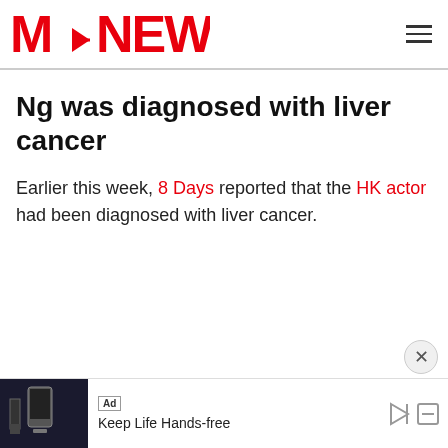M-NEWS
Ng was diagnosed with liver cancer
Earlier this week, 8 Days reported that the HK actor had been diagnosed with liver cancer.
[Figure (screenshot): Advertisement banner at the bottom showing an ad image with text 'Keep Life Hands-free' and Ad label]